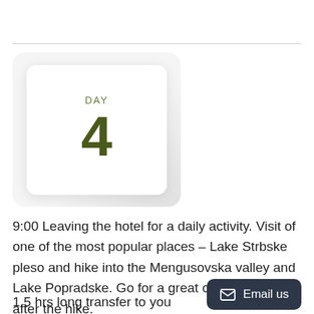[Figure (infographic): Day 4 card: white rounded card with shadow on light gradient background, showing 'DAY' label above large numeral '4' in olive/dark green color]
9:00 Leaving the hotel for a daily activity. Visit of one of the most popular places – Lake Strbske pleso and hike into the Mengusovska valley and Lake Popradske. Go for a great cup of coffee after the hike.
1.5 hrs long transfer to you